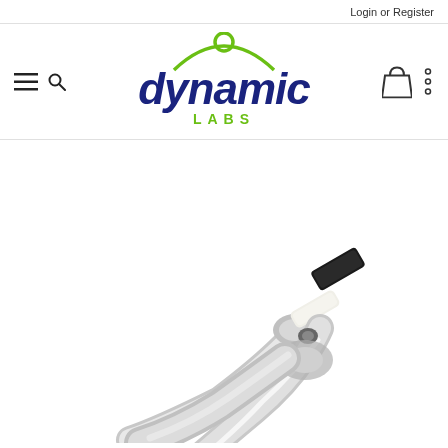Login or Register
[Figure (logo): Dynamic Labs logo with stylized arc and circle above the word 'dynamic' in dark blue italic bold text and 'LABS' in green spaced letters below, with hamburger menu, search, cart and options icons in the navigation bar]
[Figure (photo): Close-up photograph of orthodontic or laboratory pliers/forceps with silver stainless steel jaws, one jaw having a black rubber/nylon insert and the other a white/ivory insert, shown against a white background]